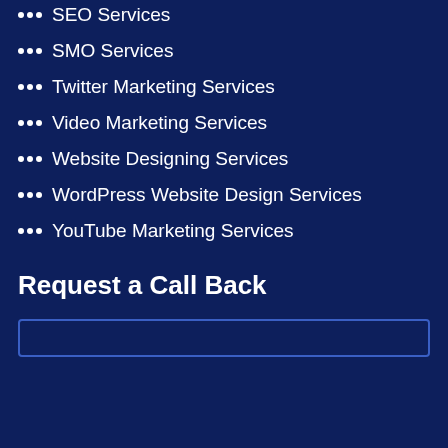SEO Services
SMO Services
Twitter Marketing Services
Video Marketing Services
Website Designing Services
WordPress Website Design Services
YouTube Marketing Services
Request a Call Back